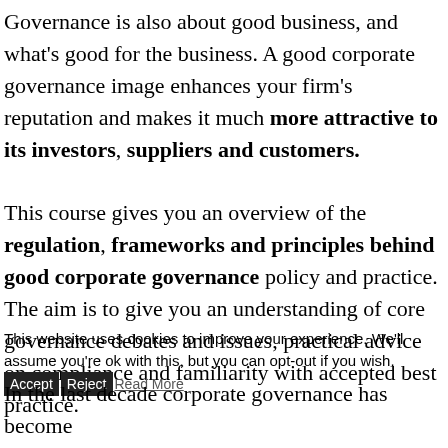Governance is also about good business, and what's good for the business. A good corporate governance image enhances your firm's reputation and makes it much more attractive to its investors, suppliers and customers.
This course gives you an overview of the regulation, frameworks and principles behind good corporate governance policy and practice. The aim is to give you an understanding of core governance debates and issues, practical advice on compliance and familiarity with accepted best practice.
This website uses cookies to improve your experience. We'll assume you're ok with this, but you can opt-out if you wish. [Accept] [Reject] [Read More]
In the last decade corporate governance has become